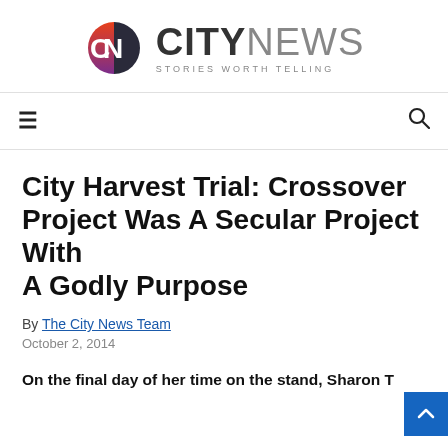[Figure (logo): CityNews logo with colorful CN icon and tagline 'STORIES WORTH TELLING']
≡   🔍
City Harvest Trial: Crossover Project Was A Secular Project With A Godly Purpose
By The City News Team
October 2, 2014
On the final day of her time on the stand, Sharon T...